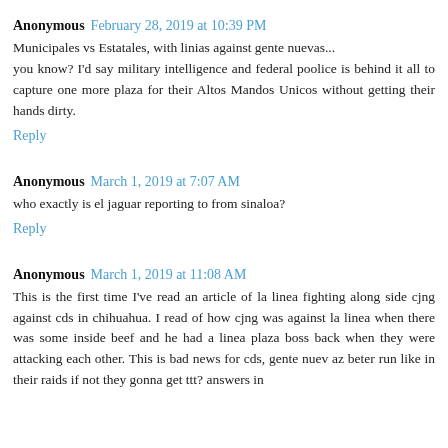Anonymous  February 28, 2019 at 10:39 PM
Municipales vs Estatales, with linias against gente nuevas...
you know? I'd say military intelligence and federal poolice is behind it all to capture one more plaza for their Altos Mandos Unicos without getting their hands dirty.
Reply
Anonymous  March 1, 2019 at 7:07 AM
who exactly is el jaguar reporting to from sinaloa?
Reply
Anonymous  March 1, 2019 at 11:08 AM
This is the first time I've read an article of la linea fighting along side cjng against cds in chihuahua. I read of how cjng was against la linea when there was some inside beef and he had a linea plaza boss back when they were attacking each other. This is bad news for cds, gente nuev az beter run like in their raids if not they gonna get ttt? answers in